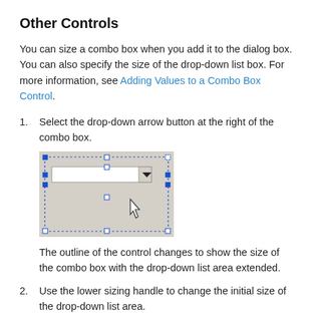Other Controls
You can size a combo box when you add it to the dialog box. You can also specify the size of the drop-down list box. For more information, see Adding Values to a Combo Box Control.
1. Select the drop-down arrow button at the right of the combo box.
[Figure (screenshot): Screenshot of a combo box control in a dialog editor with selection handles shown and cursor pointing at the lower-right area, showing the drop-down arrow button selected.]
The outline of the control changes to show the size of the combo box with the drop-down list area extended.
2. Use the lower sizing handle to change the initial size of the drop-down list area.